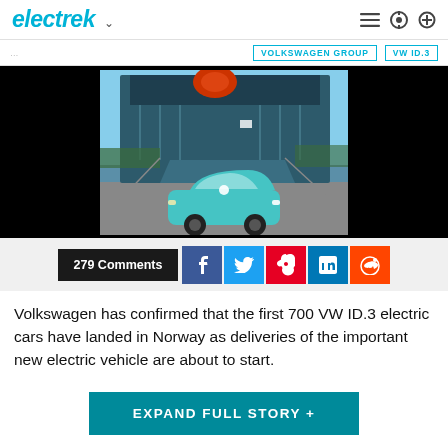electrek
VOLKSWAGEN GROUP   VW ID.3
[Figure (photo): A teal/turquoise Volkswagen ID.3 electric car being unloaded from a large dark blue car carrier ship at a port, with blue sky and water visible in the background.]
279 Comments
Volkswagen has confirmed that the first 700 VW ID.3 electric cars have landed in Norway as deliveries of the important new electric vehicle are about to start.
EXPAND FULL STORY +